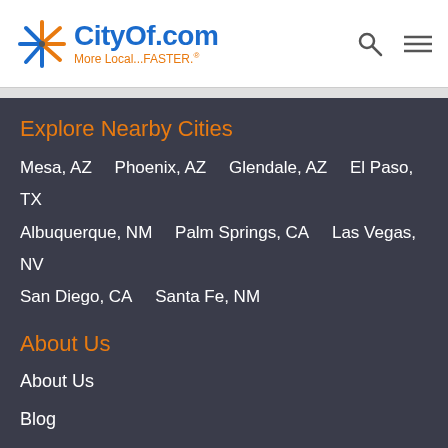[Figure (logo): CityOf.com logo with starburst icon and tagline 'More Local...FASTER.']
Explore Nearby Cities
Mesa, AZ
Phoenix, AZ
Glendale, AZ
El Paso, TX
Albuquerque, NM
Palm Springs, CA
Las Vegas, NV
San Diego, CA
Santa Fe, NM
About Us
About Us
Blog
Contact Us
Good News